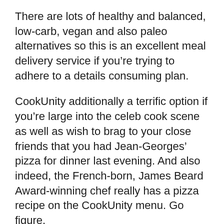There are lots of healthy and balanced, low-carb, vegan and also paleo alternatives so this is an excellent meal delivery service if you’re trying to adhere to a details consuming plan.
CookUnity additionally a terrific option if you’re large into the celeb cook scene as well as wish to brag to your close friends that you had Jean-Georges’ pizza for dinner last evening. And also indeed, the French-born, James Beard Award-winning chef really has a pizza recipe on the CookUnity menu. Go figure.
That is CookUnity not